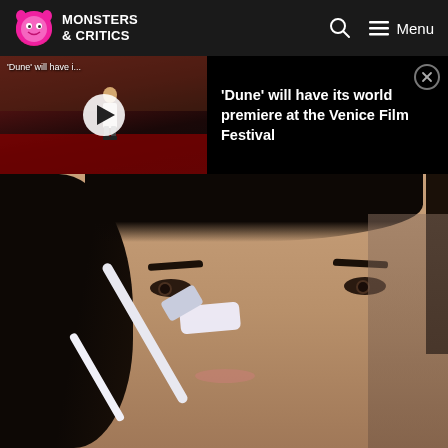Monsters & Critics — Navigation bar with logo, search icon, and menu
[Figure (screenshot): Video thumbnail showing a person on a red carpet with a play button overlay, labeled 'Dune will have i...']
'Dune' will have its world premiere at the Venice Film Festival
[Figure (photo): Close-up photo of a dark-haired woman applying a white product to her nose with a brush/applicator]